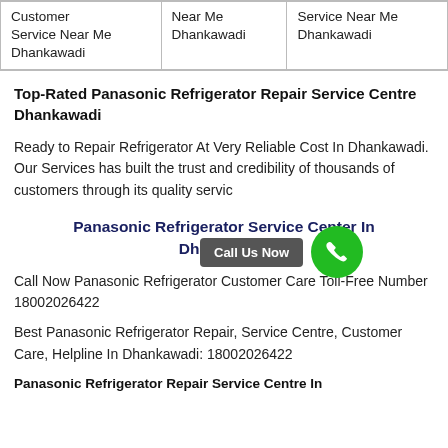| Customer Service Near Me Dhankawadi | Near Me Dhankawadi | Service Near Me Dhankawadi |
Top-Rated Panasonic Refrigerator Repair Service Centre Dhankawadi
Ready to Repair Refrigerator At Very Reliable Cost In Dhankawadi. Our Services has built the trust and credibility of thousands of customers through its quality servic…
[Figure (other): Green circular phone/call icon with 'Call Us Now' button overlay]
Panasonic Refrigerator Service Center In Dhankawadi
Call Now Panasonic Refrigerator Customer Care Toll-Free Number 18002026422
Best Panasonic Refrigerator Repair, Service Centre, Customer Care, Helpline In Dhankawadi: 18002026422
Panasonic Refrigerator Repair Service Centre In…